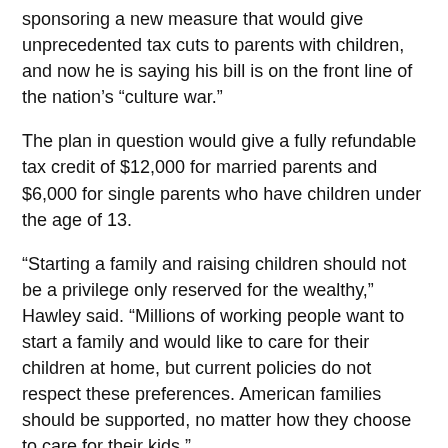sponsoring a new measure that would give unprecedented tax cuts to parents with children, and now he is saying his bill is on the front line of the nation's “culture war.”
The plan in question would give a fully refundable tax credit of $12,000 for married parents and $6,000 for single parents who have children under the age of 13.
“Starting a family and raising children should not be a privilege only reserved for the wealthy,” Hawley said. “Millions of working people want to start a family and would like to care for their children at home, but current policies do not respect these preferences. American families should be supported, no matter how they choose to care for their kids.”
Hawley announced the bill earlier this week, appealing to the importance of families and raising children, but later his messaging intensified. On Wednesday, “Josh Hawley for Senate” sent out a fundraising email saying his latest legislation is key to winning the culture war.